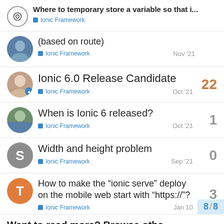Where to temporary store a variable so that i... | Ionic Framework
(based on route) | Ionic Framework | Nov '21
Ionic 6.0 Release Candidate | Ionic Framework | Oct '21 | 22 replies
When is Ionic 6 released? | Ionic Framework | Oct '21 | 1 reply
Width and height problem | Ionic Framework | Sep '21 | 0 replies
How to make the "ionic serve" deploy on the mobile web start with "https://"? | Ionic Framework | Jan 10 | 3 replies
Want to read more? Browse othe
8 / 8